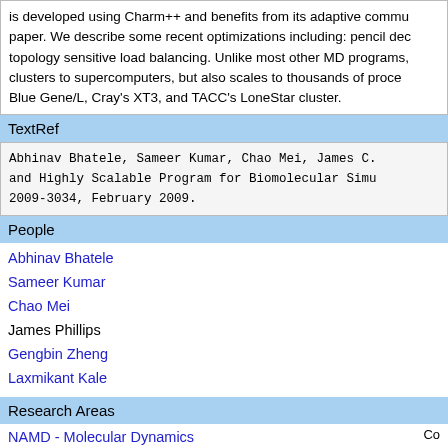is developed using Charm++ and benefits from its adaptive communication optimizations described in this paper. We describe some recent optimizations including: pencil decomposition for FFTs, and topology sensitive load balancing. Unlike most other MD programs, NAMD scales not only from small clusters to supercomputers, but also scales to thousands of processors on machines such as IBM Blue Gene/L, Cray's XT3, and TACC's LoneStar cluster.
TextRef
Abhinav Bhatele, Sameer Kumar, Chao Mei, James C. ... and Highly Scalable Program for Biomolecular Simulation. ... 2009-3034, February 2009.
People
Abhinav Bhatele
Sameer Kumar
Chao Mei
James Phillips
Gengbin Zheng
Laxmikant Kale
Research Areas
NAMD - Molecular Dynamics
Co